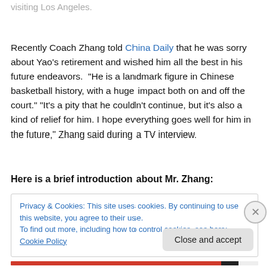visiting Los Angeles.
Recently Coach Zhang told China Daily that he was sorry about Yao’s retirement and wished him all the best in his future endeavors. “He is a landmark figure in Chinese basketball history, with a huge impact both on and off the court.” “It’s a pity that he couldn’t continue, but it’s also a kind of relief for him. I hope everything goes well for him in the future,” Zhang said during a TV interview.
Here is a brief introduction about Mr. Zhang:
Privacy & Cookies: This site uses cookies. By continuing to use this website, you agree to their use.
To find out more, including how to control cookies, see here: Cookie Policy
Close and accept